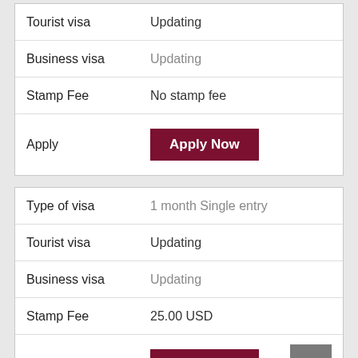| Field | Value |
| --- | --- |
| Tourist visa | Updating |
| Business visa | Updating |
| Stamp Fee | No stamp fee |
| Apply | Apply Now |
| Field | Value |
| --- | --- |
| Type of visa | 1 month Single entry |
| Tourist visa | Updating |
| Business visa | Updating |
| Stamp Fee | 25.00 USD |
| Apply | Apply Now |
| Field | Value |
| --- | --- |
| Type of visa | 1 month Multiple entries |